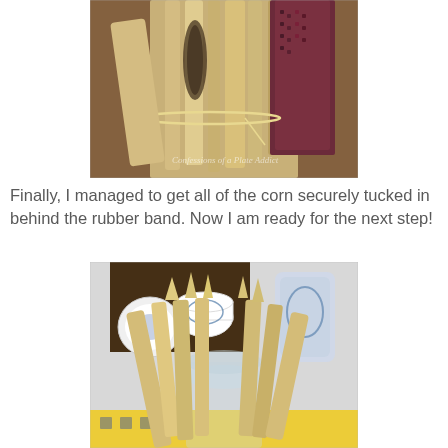[Figure (photo): Close-up photo of dried corn husks and Indian corn bundled together with a rubber band or twine, placed on a wooden surface. A watermark reads 'Confessions of a Plate Addict'.]
Finally, I managed to get all of the corn securely tucked in behind the rubber band. Now I am ready for the next step!
[Figure (photo): Photo of dried corn husks arranged around a clear glass vase, placed on a yellow patterned surface. Blue and white china dishes and pottery are visible in the background on a dark wood shelf.]